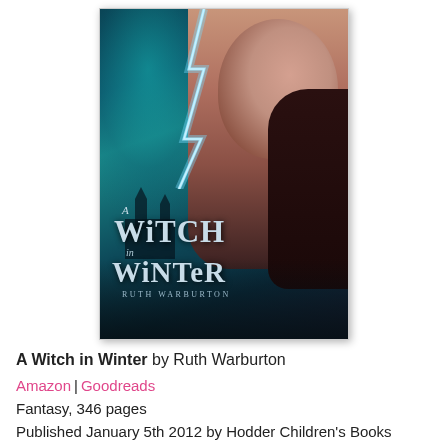[Figure (illustration): Book cover of 'A Witch in Winter' by Ruth Warburton. Shows a young woman with long dark hair against a dark teal background with lightning and a gothic castle silhouette. The title text 'A Witch in Winter' is displayed in decorative serif font with ornamental flourishes, and 'Ruth Warburton' appears as the author name at the bottom.]
A Witch in Winter by Ruth Warburton
Amazon | Goodreads
Fantasy, 346 pages
Published January 5th 2012 by Hodder Children's Books